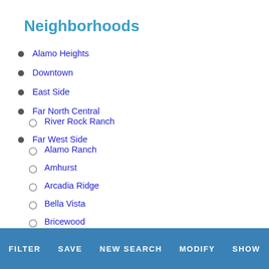Neighborhoods
Alamo Heights
Downtown
East Side
Far North Central
River Rock Ranch
Far West Side
Alamo Ranch
Amhurst
Arcadia Ridge
Bella Vista
Bricewood
Davis Ranch
Champions Manor
Champions Park
FILTER   SAVE   NEW SEARCH   MODIFY   SHOW